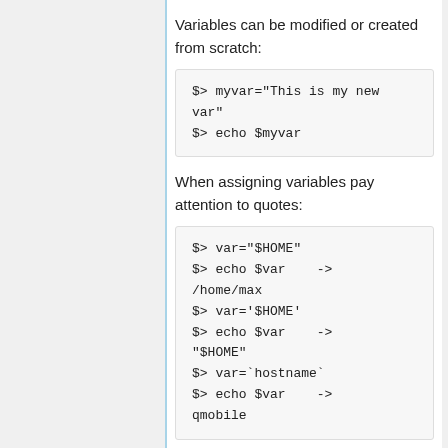Variables can be modified or created from scratch:
$> myvar="This is my new var"
$> echo $myvar
When assigning variables pay attention to quotes:
$> var="$HOME"
$> echo $var    -> /home/max
$> var='$HOME'
$> echo $var    -> "$HOME"
$> var=`hostname`
$> echo $var    -> qmobile
The last quote pair (back quotes, ``)